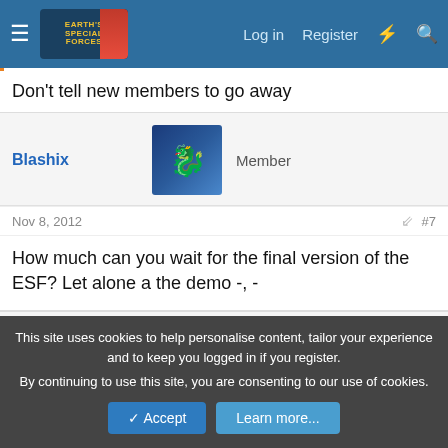Earth's Special Forces forum header with Log in, Register, and search icons
Don't tell new members to go away
Blashix — Member
Nov 8, 2012  #7
How much can you wait for the final version of the ESF? Let alone a the demo -, -
Mystacx — Oldtimer  ✓ HL Verified  ⚡ Steam Linked  Discord Member
This site uses cookies to help personalise content, tailor your experience and to keep you logged in if you register.
By continuing to use this site, you are consenting to our use of cookies.